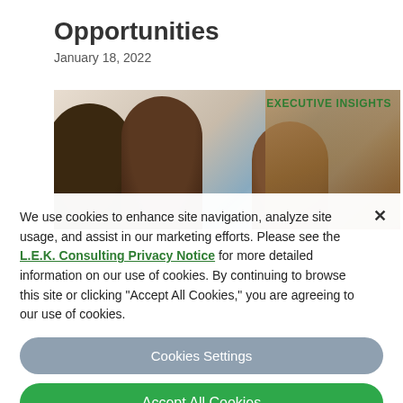Opportunities
January 18, 2022
[Figure (photo): Three people in a professional setting with text 'EXECUTIVE INSIGHTS' in green on the right side]
We use cookies to enhance site navigation, analyze site usage, and assist in our marketing efforts. Please see the L.E.K. Consulting Privacy Notice for more detailed information on our use of cookies. By continuing to browse this site or clicking "Accept All Cookies," you are agreeing to our use of cookies.
Cookies Settings
Accept All Cookies